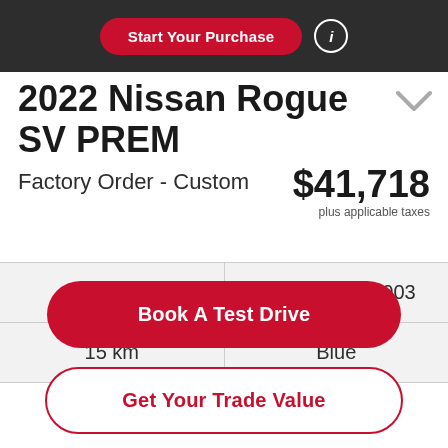Start Your Purchase
2022 Nissan Rogue SV PREM
Factory Order - Custom
$41,718
plus applicable taxes
| New | Stock No: BNI003 |
| 15 km | Blue |
Book A Test Drive
Get Your Trade Value